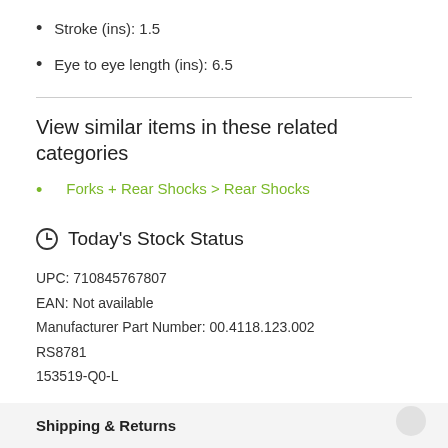Stroke (ins): 1.5
Eye to eye length (ins): 6.5
View similar items in these related categories
Forks + Rear Shocks > Rear Shocks
Today's Stock Status
UPC: 710845767807
EAN: Not available
Manufacturer Part Number: 00.4118.123.002
RS8781
153519-Q0-L
Shipping & Returns